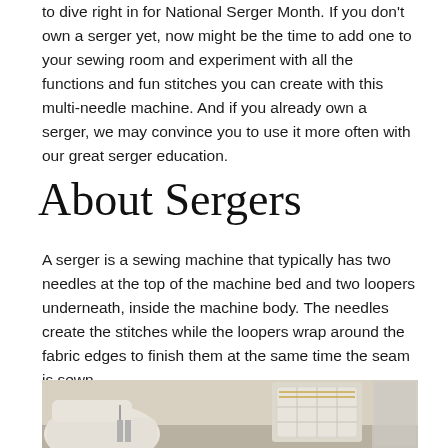to dive right in for National Serger Month. If you don't own a serger yet, now might be the time to add one to your sewing room and experiment with all the functions and fun stitches you can create with this multi-needle machine. And if you already own a serger, we may convince you to use it more often with our great serger education.
About Sergers
A serger is a sewing machine that typically has two needles at the top of the machine bed and two loopers underneath, inside the machine body. The needles create the stitches while the loopers wrap around the fabric edges to finish them at the same time the seam is sewn.
[Figure (photo): A close-up photograph of a serger sewing machine, showing the machine arm and base in a light cream/beige color, with metallic needle components visible.]